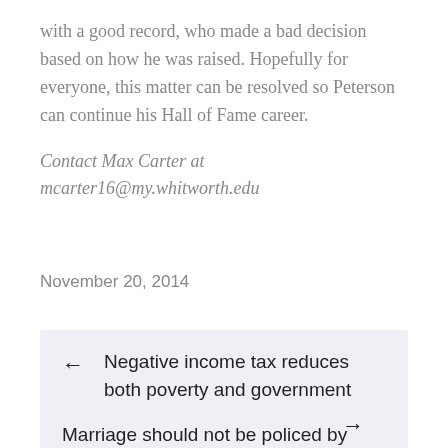with a good record, who made a bad decision based on how he was raised. Hopefully for everyone, this matter can be resolved so Peterson can continue his Hall of Fame career.
Contact Max Carter at mcarter16@my.whitworth.edu
November 20, 2014
← Negative income tax reduces both poverty and government
Marriage should not be policed by →